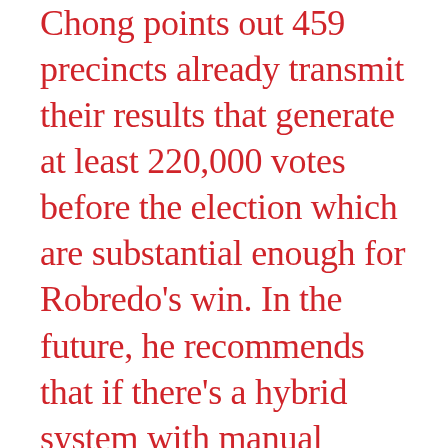Chong points out 459 precincts already transmit their results that generate at least 220,000 votes before the election which are substantial enough for Robredo's win. In the future, he recommends that if there's a hybrid system with manual voting and counting, the physical counts are already in the precincts' record. These can then be the basis for the digital transmission should there be